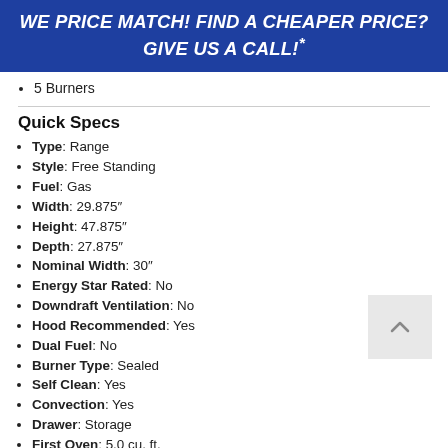WE PRICE MATCH! FIND A CHEAPER PRICE? GIVE US A CALL!*
5 Burners
Quick Specs
Type: Range
Style: Free Standing
Fuel: Gas
Width: 29.875"
Height: 47.875"
Depth: 27.875"
Nominal Width: 30"
Energy Star Rated: No
Downdraft Ventilation: No
Hood Recommended: Yes
Dual Fuel: No
Burner Type: Sealed
Self Clean: Yes
Convection: Yes
Drawer: Storage
First Oven: 5.0 cu. ft.
Hidden Bake Element: Yes
Continuous Grate: Yes